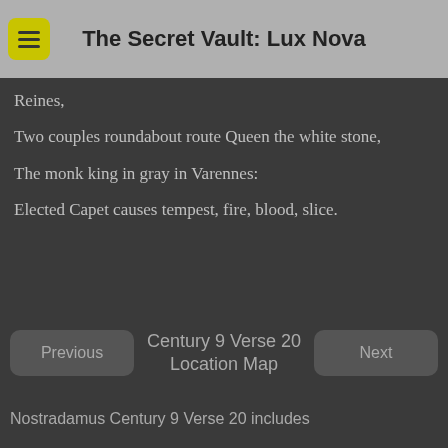The Secret Vault: Lux Nova
Reines,
Two couples roundabout route Queen the white stone,
The monk king in gray in Varennes:
Elected Capet causes tempest, fire, blood, slice.
Previous
Century 9 Verse 20 Location Map
Next
Nostradamus Century 9 Verse 20 includes